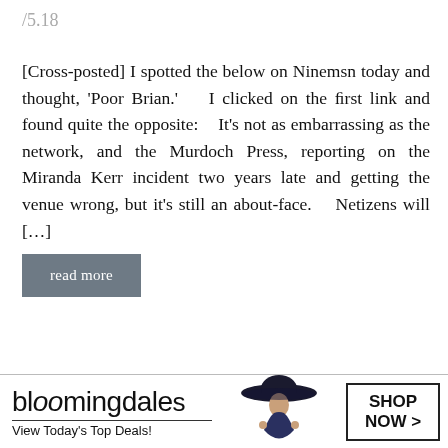/5.18
[Cross-posted] I spotted the below on Ninemsn today and thought, ‘Poor Brian.’    I clicked on the ﬁrst link and found quite the opposite:    It’s not as embarrassing as the network, and the Murdoch Press, reporting on the Miranda Kerr incident two years late and getting the venue wrong, but it’s still an about-face.    Netizens will […]
read more
[Figure (screenshot): Infolinks advertisement bar with Bloomingdale's ad: 'View Today's Top Deals!' with SHOP NOW > button and woman in hat image]